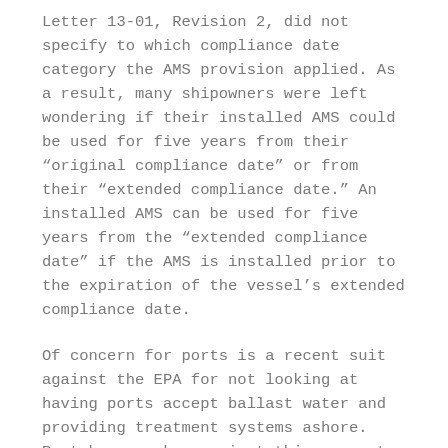Letter 13-01, Revision 2, did not specify to which compliance date category the AMS provision applied. As a result, many shipowners were left wondering if their installed AMS could be used for five years from their "original compliance date" or from their "extended compliance date." An installed AMS can be used for five years from the "extended compliance date" if the AMS is installed prior to the expiration of the vessel's extended compliance date.
Of concern for ports is a recent suit against the EPA for not looking at having ports accept ballast water and providing treatment systems ashore.  Port have spoken against this concept as very expensive and that the responsibility for